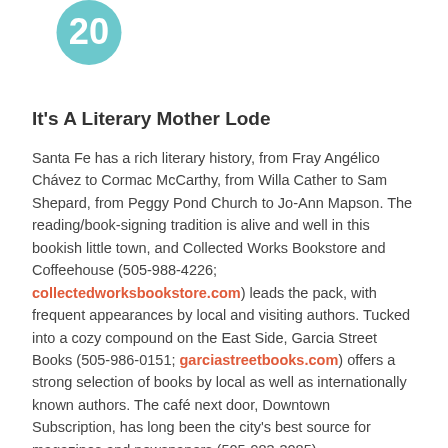[Figure (illustration): Teal/light blue circle badge with white number 20 inside, partially cropped at top of page]
It's A Literary Mother Lode
Santa Fe has a rich literary history, from Fray Angélico Chávez to Cormac McCarthy, from Willa Cather to Sam Shepard, from Peggy Pond Church to Jo-Ann Mapson. The reading/book-signing tradition is alive and well in this bookish little town, and Collected Works Bookstore and Coffeehouse (505-988-4226; collectedworksbookstore.com) leads the pack, with frequent appearances by local and visiting authors. Tucked into a cozy compound on the East Side, Garcia Street Books (505-986-0151; garciastreetbooks.com) offers a strong selection of books by local as well as internationally known authors. The café next door, Downtown Subscription, has long been the city's best source for magazines and newspapers (505-983-3085).